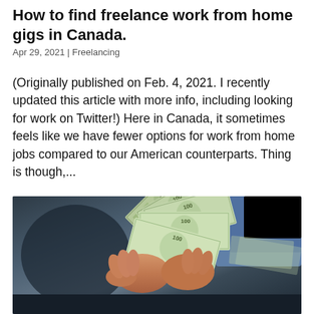How to find freelance work from home gigs in Canada.
Apr 29, 2021  |  Freelancing
(Originally published on Feb. 4, 2021. I recently updated this article with more info, including looking for work on Twitter!) Here in Canada, it sometimes feels like we have fewer options for work from home jobs compared to our American counterparts. Thing is though,...
[Figure (photo): Person holding a fan of US $100 dollar bills, counted between their hands over a dark surface]